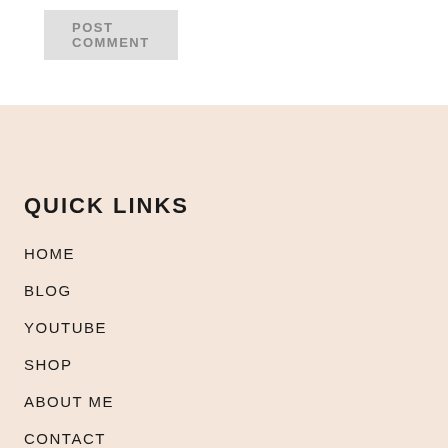[Figure (screenshot): POST COMMENT button rendered as a grey rounded rectangle at the top of the page]
QUICK LINKS
HOME
BLOG
YOUTUBE
SHOP
ABOUT ME
CONTACT